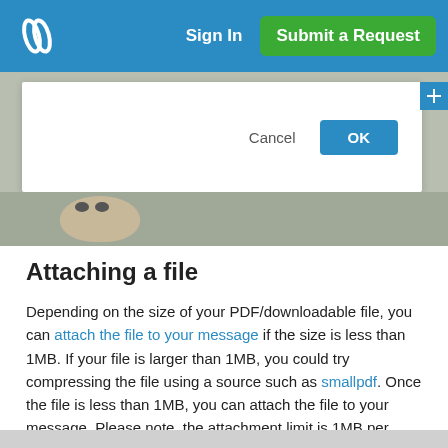Sign In | Submit a Request
[Figure (screenshot): A dialog box overlay on a dog image showing Cancel and OK buttons. The dialog has a white background with 'Cancel' text and a blue 'OK' button.]
Attaching a file
Depending on the size of your PDF/downloadable file, you can attach the file to your message if the size is less than 1MB. If your file is larger than 1MB, you could try compressing the file using a source such as smallpdf. Once the file is less than 1MB, you can attach the file to your message. Please note, the attachment limit is 1MB per message.